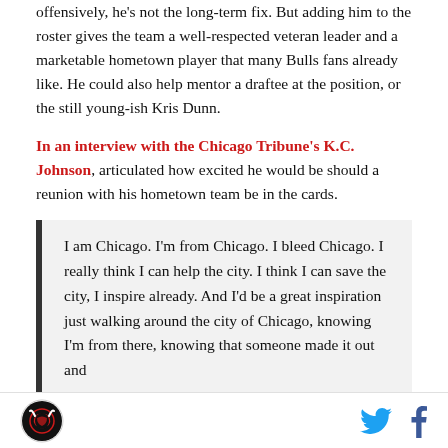offensively, he's not the long-term fix. But adding him to the roster gives the team a well-respected veteran leader and a marketable hometown player that many Bulls fans already like. He could also help mentor a draftee at the position, or the still young-ish Kris Dunn.
In an interview with the Chicago Tribune's K.C. Johnson, articulated how excited he would be should a reunion with his hometown team be in the cards.
I am Chicago. I'm from Chicago. I bleed Chicago. I really think I can help the city. I think I can save the city, I inspire already. And I'd be a great inspiration just walking around the city of Chicago, knowing I'm from there, knowing that someone made it out and